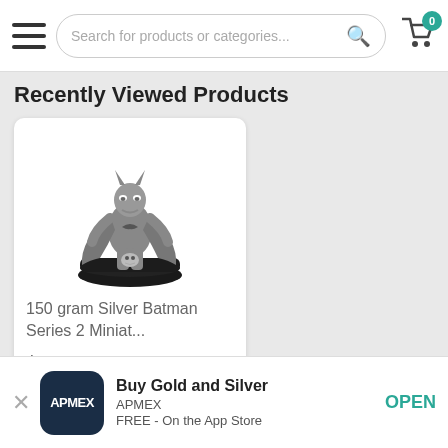Search for products or categories...
Recently Viewed Products
[Figure (photo): Silver Batman figurine/miniature statuette on a round black base, metallic silver finish]
150 gram Silver Batman Series 2 Miniat...
$799.99
Any Quantity
Buy Gold and Silver
APMEX
FREE - On the App Store
OPEN